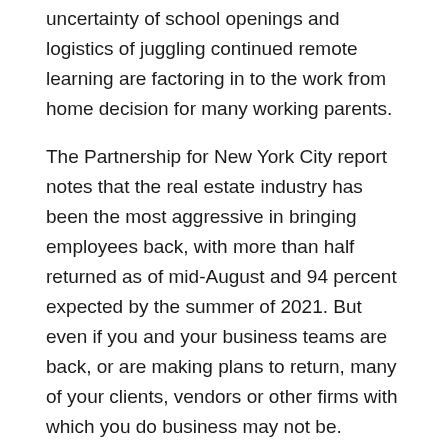uncertainty of school openings and logistics of juggling continued remote learning are factoring in to the work from home decision for many working parents.
The Partnership for New York City report notes that the real estate industry has been the most aggressive in bringing employees back, with more than half returned as of mid-August and 94 percent expected by the summer of 2021. But even if you and your business teams are back, or are making plans to return, many of your clients, vendors or other firms with which you do business may not be.
What has become the new normal, with long term business ripples yet to be determined, now requires new, innovative and evolving management strategies in these critical areas.
Portfolio management